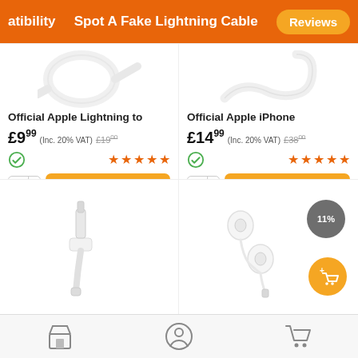atibility   Spot A Fake Lightning Cable   Reviews
[Figure (photo): White Apple Lightning cable coiled]
Official Apple Lightning to
£9.99 (Inc. 20% VAT) £19.00
[Figure (photo): White Apple iPhone cable]
Official Apple iPhone
£14.99 (Inc. 20% VAT) £38.00
[Figure (photo): Apple Lightning to 3.5mm headphone adapter]
[Figure (photo): Apple EarPods with Lightning connector]
Shop icon, Account icon, Cart icon